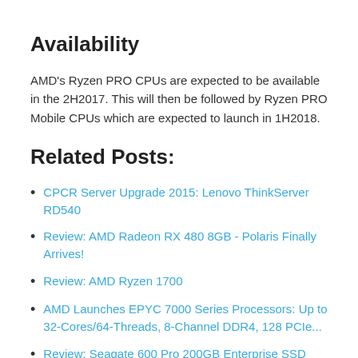Availability
AMD's Ryzen PRO CPUs are expected to be available in the 2H2017. This will then be followed by Ryzen PRO Mobile CPUs which are expected to launch in 1H2018.
Related Posts:
CPCR Server Upgrade 2015: Lenovo ThinkServer RD540
Review: AMD Radeon RX 480 8GB - Polaris Finally Arrives!
Review: AMD Ryzen 1700
AMD Launches EPYC 7000 Series Processors: Up to 32-Cores/64-Threads, 8-Channel DDR4, 128 PCIe...
Review: Seagate 600 Pro 200GB Enterprise SSD